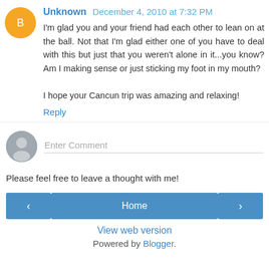Unknown December 4, 2010 at 7:32 PM
I'm glad you and your friend had each other to lean on at the ball. Not that I'm glad either one of you have to deal with this but just that you weren't alone in it...you know? Am I making sense or just sticking my foot in my mouth?

I hope your Cancun trip was amazing and relaxing!
Reply
Enter Comment
Please feel free to leave a thought with me!
‹
Home
›
View web version
Powered by Blogger.